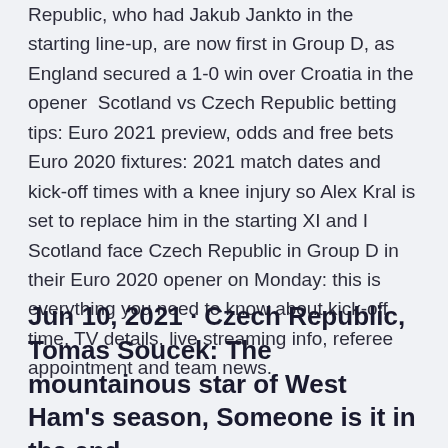Republic, who had Jakub Jankto in the starting line-up, are now first in Group D, as England secured a 1-0 win over Croatia in the opener  Scotland vs Czech Republic betting tips: Euro 2021 preview, odds and free bets Euro 2020 fixtures: 2021 match dates and kick-off times with a knee injury so Alex Kral is set to replace him in the starting XI and I Scotland face Czech Republic in Group D in their Euro 2020 opener on Monday: this is everything you need to know about kick-off time, TV details, live streaming info, referee appointment and team news.
Jun 10, 2021 · Czech Republic, Tomas Soucek: The mountainous star of West Ham's season, Someone is it in the end